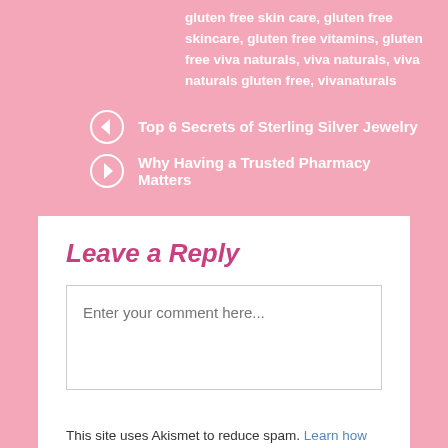gluten free skin care, gluten free skincare, gluten free vitamins, gluten free viva naturals, viva naturals, viva naturals gluten free, vivanaturals
Top 6 Secrets of Sterling Silver Jewelry
Why Having a Trusted Pharmacy Matters
Leave a Reply
Enter your comment here...
This site uses Akismet to reduce spam. Learn how your comment data is processed.